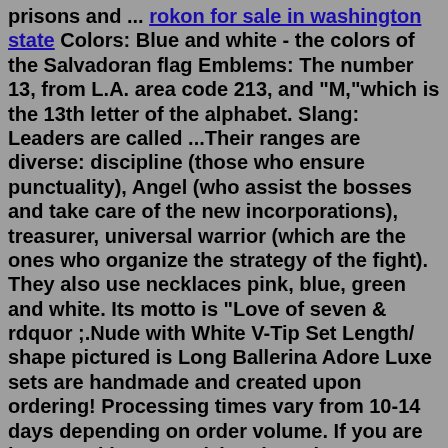prisons and ... rokon for sale in washington state Colors: Blue and white - the colors of the Salvadoran flag Emblems: The number 13, from L.A. area code 213, and "M,"which is the 13th letter of the alphabet. Slang: Leaders are called ...Their ranges are diverse: discipline (those who ensure punctuality), Angel (who assist the bosses and take care of the new incorporations), treasurer, universal warrior (which are the ones who organize the strategy of the fight). They also use necklaces pink, blue, green and white. Its motto is "Love of seven & rdquor ;.Nude with White V-Tip Set Length/ shape pictured is Long Ballerina Adore Luxe sets are handmade and created upon ordering! Processing times vary from 10-14 days depending on order volume. If you are interested in customizing the color or removing a design element on this set, please enter the desired changes in the "Order Notes" section at ... Ever wondered about the humble cocoa bean - find out all about it here! By Al GarnsworthyOct 23, 2010. Most large-scale chocolate brands from European luxury...